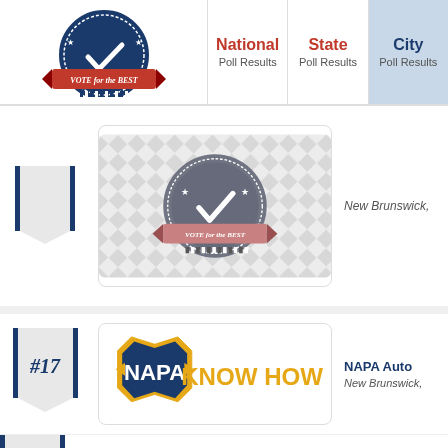[Figure (logo): Vote for the Best badge logo - circular navy blue badge with checkmark and red banner]
National
Poll Results
State
Poll Results
City
Poll Results
[Figure (illustration): Vote for the Best badge on diamond pattern grey background]
New Brunswick,
#17
[Figure (logo): NAPA Auto Parts - NAPA KNOW HOW logo in yellow and navy]
NAPA Auto
New Brunswick,